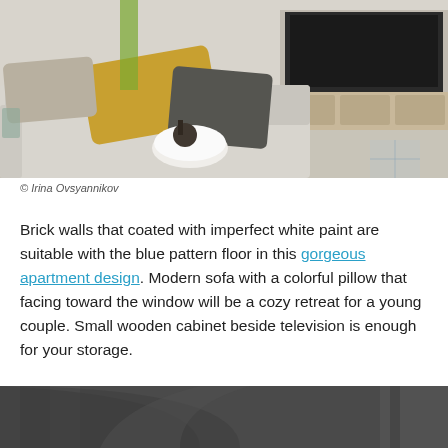[Figure (photo): Modern living room with light grey sofa, yellow and dark grey pillows, white round coffee table, wooden TV cabinet, and decorative blue-patterned floor.]
© Irina Ovsyannikov
Brick walls that coated with imperfect white paint are suitable with the blue pattern floor in this gorgeous apartment design. Modern sofa with a colorful pillow that facing toward the window will be a cozy retreat for a young couple. Small wooden cabinet beside television is enough for your storage.
[Figure (photo): Partial view of a dark grey room with curved architectural details, partially cropped at bottom of page.]